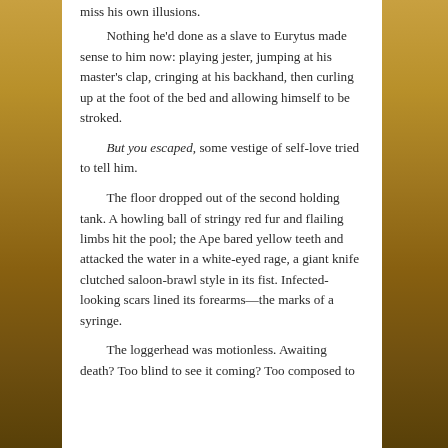miss his own illusions.

Nothing he'd done as a slave to Eurytus made sense to him now: playing jester, jumping at his master's clap, cringing at his backhand, then curling up at the foot of the bed and allowing himself to be stroked.

But you escaped, some vestige of self-love tried to tell him.

The floor dropped out of the second holding tank. A howling ball of stringy red fur and flailing limbs hit the pool; the Ape bared yellow teeth and attacked the water in a white-eyed rage, a giant knife clutched saloon-brawl style in its fist. Infected-looking scars lined its forearms—the marks of a syringe.

The loggerhead was motionless. Awaiting death? Too blind to see it coming? Too composed to